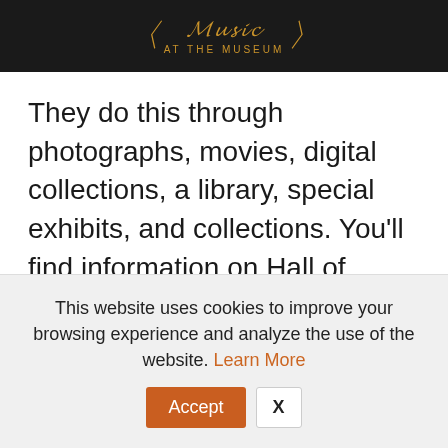[Figure (other): Dark banner with museum logo showing decorative script text and 'AT THE MUSEUM' subtitle in gold on black background]
They do this through photographs, movies, digital collections, a library, special exhibits, and collections. You'll find information on Hall of Fame members such as Johnny Cash, Roy Acuff, Tammy Wynette, and a host of other brilliant musicians.
This website uses cookies to improve your browsing experience and analyze the use of the website. Learn More
Accept  X